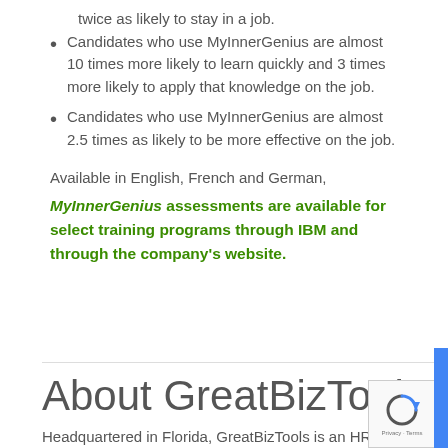twice as likely to stay in a job.
Candidates who use MyInnerGenius are almost 10 times more likely to learn quickly and 3 times more likely to apply that knowledge on the job.
Candidates who use MyInnerGenius are almost 2.5 times as likely to be more effective on the job.
Available in English, French and German,
MyInnerGenius assessments are available for select training programs through IBM and through the company's website.
About GreatBizTools
Headquartered in Florida, GreatBizTools is an HR